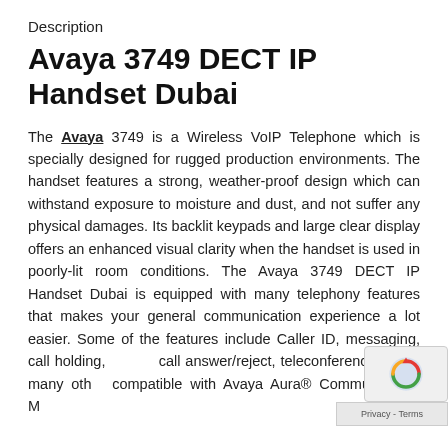Description
Avaya 3749 DECT IP Handset Dubai
The Avaya 3749 is a Wireless VoIP Telephone which is specially designed for rugged production environments. The handset features a strong, weather-proof design which can withstand exposure to moisture and dust, and not suffer any physical damages. Its backlit keypads and large clear display offers an enhanced visual clarity when the handset is used in poorly-lit room conditions. The Avaya 3749 DECT IP Handset Dubai is equipped with many telephony features that makes your general communication experience a lot easier. Some of the features include Caller ID, messaging, call holding, muting, call answer/reject, teleconferencing, and many other. compatible with Avaya Aura® Communication M...